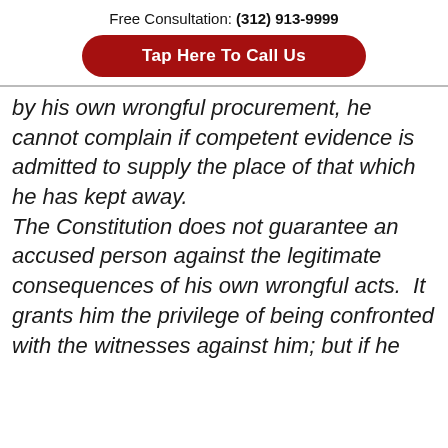Free Consultation: (312) 913-9999
Tap Here To Call Us
by his own wrongful procurement, he cannot complain if competent evidence is admitted to supply the place of that which he has kept away. The Constitution does not guarantee an accused person against the legitimate consequences of his own wrongful acts.  It grants him the privilege of being confronted with the witnesses against him; but if he